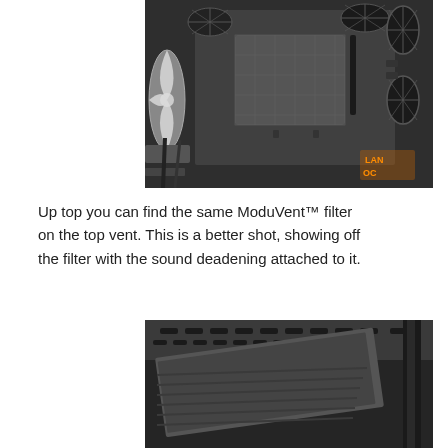[Figure (photo): Interior top view of a PC case showing ModuVent filter on the top vent, with a white case fan on the left, cable management slots, and a mesh filter panel in the center. An orange LANOC watermark is visible in the lower right.]
Up top you can find the same ModuVent™ filter on the top vent. This is a better shot, showing off the filter with the sound deadening attached to it.
[Figure (photo): Close-up view of a PC case top panel showing the ModuVent filter panel being removed, revealing the mesh filter with sound deadening material attached underneath.]